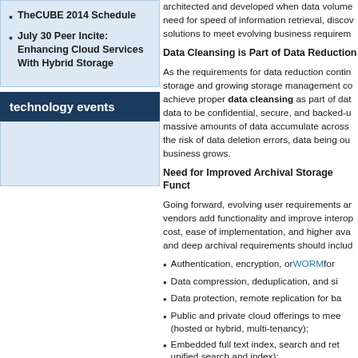TheCUBE 2014 Schedule
July 30 Peer Incite: Enhancing Cloud Services With Hybrid Storage
technology events
architected and developed when data volumes, need for speed of information retrieval, discovery, solutions to meet evolving business requirements.
Data Cleansing is Part of Data Reduction
As the requirements for data reduction continue, storage and growing storage management costs, achieve proper data cleansing as part of data, data to be confidential, secure, and backed-up, massive amounts of data accumulate across, the risk of data deletion errors, data being out of, business grows.
Need for Improved Archival Storage Functionality
Going forward, evolving user requirements and vendors add functionality and improve interoperability, cost, ease of implementation, and higher availability, and deep archival requirements should include:
Authentication, encryption, or WORM for
Data compression, deduplication, and similar
Data protection, remote replication for backup
Public and private cloud offerings to meet (hosted or hybrid, multi-tenancy);
Embedded full text index, search and retrieval unified search and index);
Metadata support for unstructured or structured data);
Standards-based interfaces, support, and
High availability features to protect against
Scalability and affordability for active archival plus PB, $1 per GB range);
Lower power consumption and reduced footprint and,
Tiered storage with reporting capabilities